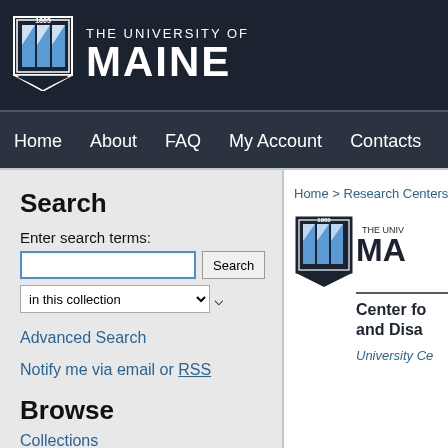[Figure (logo): University of Maine logo with shield and text 'THE UNIVERSITY OF MAINE' on dark background header bar]
Home   About   FAQ   My Account   Contacts
Search
Enter search terms:
in this collection
Advanced Search
Notify me via email or RSS
Browse
Collections
Disciplines
Home > Research Centers and
[Figure (logo): University of Maine shield logo with text 'THE UNIVERSITY OF MA...' and 'Center fo... and Disa...' and 'University Ce...' in blue italic]